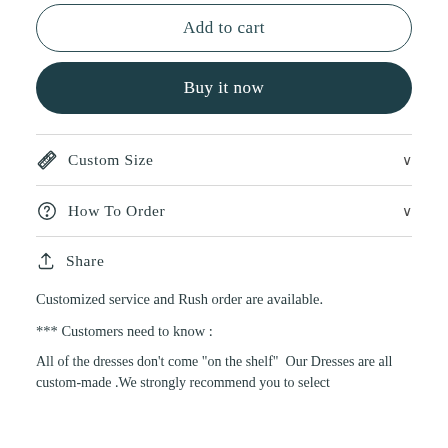Add to cart
Buy it now
Custom Size
How To Order
Share
Customized service and Rush order are available.
*** Customers need to know :
All of the dresses don't come "on the shelf"  Our Dresses are all custom-made .We strongly recommend you to select